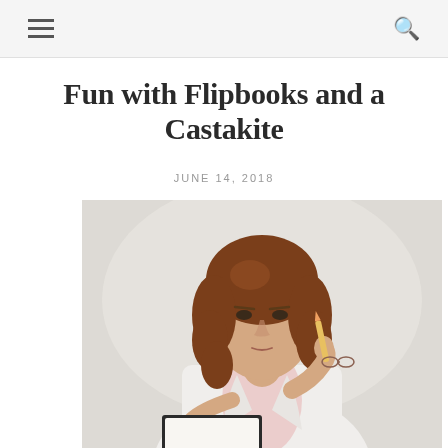☰  🔍
Fun with Flipbooks and a Castakite
JUNE 14, 2018
[Figure (photo): A woman with curly auburn hair wearing a white blazer over a pink shirt, holding a pencil to her chin in a thinking pose and holding an open notebook/flipbook at her side, against a light grey background.]